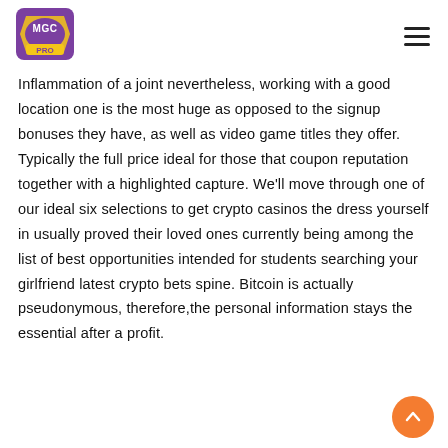MGC PRO logo and navigation menu
Inflammation of a joint nevertheless, working with a good location one is the most huge as opposed to the signup bonuses they have, as well as video game titles they offer. Typically the full price ideal for those that coupon reputation together with a highlighted capture. We'll move through one of our ideal six selections to get crypto casinos the dress yourself in usually proved their loved ones currently being among the list of best opportunities intended for students searching your girlfriend latest crypto bets spine. Bitcoin is actually pseudonymous, therefore,the personal information stays the essential after a profit.